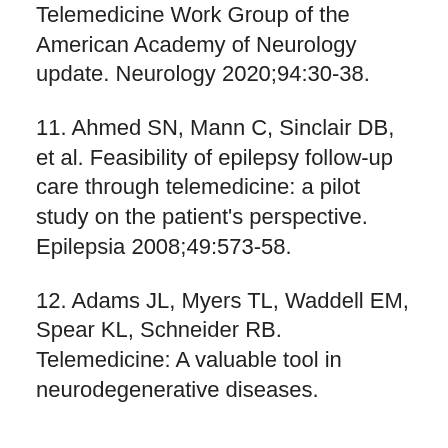Telemedicine Work Group of the American Academy of Neurology update. Neurology 2020;94:30-38.
11. Ahmed SN, Mann C, Sinclair DB, et al. Feasibility of epilepsy follow-up care through telemedicine: a pilot study on the patient's perspective. Epilepsia 2008;49:573-58.
12. Adams JL, Myers TL, Waddell EM, Spear KL, Schneider RB. Telemedicine: A valuable tool in neurodegenerative diseases.